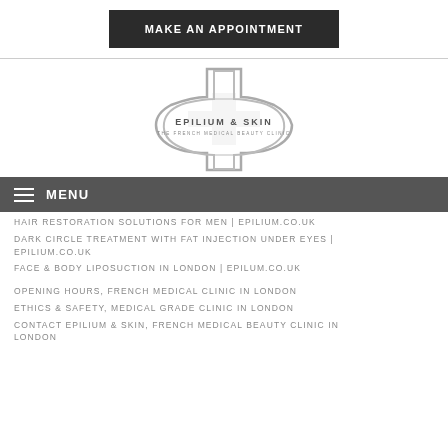MAKE AN APPOINTMENT
[Figure (logo): Epilium & Skin logo — a medical cross shape outline with text 'EPILIUM & SKIN' and subtitle 'THE FRENCH MEDICAL BEAUTY CLINIC']
MENU
HAIR RESTORATION SOLUTIONS FOR MEN | EPILIUM.CO.UK
DARK CIRCLE TREATMENT WITH FAT INJECTION UNDER EYES | EPILIUM.CO.UK
FACE & BODY LIPOSUCTION IN LONDON | EPILUM.CO.UK
OPENING HOURS, FRENCH MEDICAL CLINIC IN LONDON
ETHICS & SAFETY, MEDICAL GRADE CLINIC IN LONDON
CONTACT EPILIUM & SKIN, FRENCH MEDICAL BEAUTY CLINIC IN LONDON